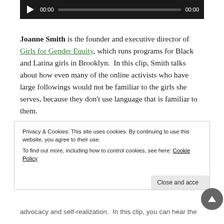[Figure (screenshot): Audio player bar with play button, 00:00 timestamp, progress bar, and 00:00 end time on dark background]
Joanne Smith is the founder and executive director of Girls for Gender Equity, which runs programs for Black and Latina girls in Brooklyn.  In this clip, Smith talks about how even many of the online activists who have large followings would not be familiar to the girls she serves, because they don't use language that is familiar to them.
[Figure (screenshot): Audio player bar with play button, 00:00 timestamp, progress bar, and 00:00 end time on dark background]
Privacy & Cookies: This site uses cookies. By continuing to use this website, you agree to their use.
To find out more, including how to control cookies, see here: Cookie Policy
advocacy and self-realization.  In this clip, you can hear the